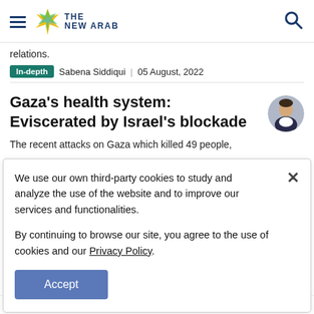THE NEW ARAB
relations.
In-depth  Sabena Siddiqui  |  05 August, 2022
Gaza's health system: Eviscerated by Israel's blockade
The recent attacks on Gaza which killed 49 people,
We use our own third-party cookies to study and analyze the use of the website and to improve our services and functionalities.

By continuing to browse our site, you agree to the use of cookies and our Privacy Policy.

Accept
States of Journalism: The framing, sourcing, selection of